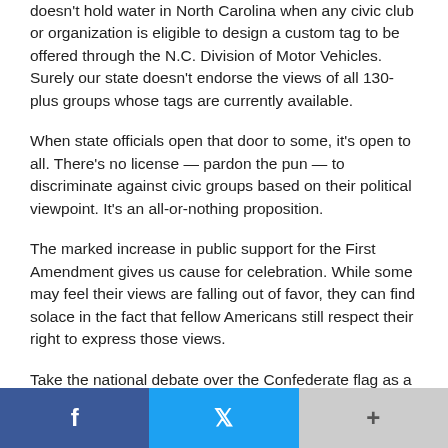doesn't hold water in North Carolina when any civic club or organization is eligible to design a custom tag to be offered through the N.C. Division of Motor Vehicles. Surely our state doesn't endorse the views of all 130-plus groups whose tags are currently available.
When state officials open that door to some, it's open to all. There's no license — pardon the pun — to discriminate against civic groups based on their political viewpoint. It's an all-or-nothing proposition.
The marked increase in public support for the First Amendment gives us cause for celebration. While some may feel their views are falling out of favor, they can find solace in the fact that fellow Americans still respect their right to express those views.
Take the national debate over the Confederate flag as a prime example. However they feel about the emblem, Americans
[Figure (other): Social media share bar with Facebook (blue), Twitter (light blue), and More (+) (gray) buttons]